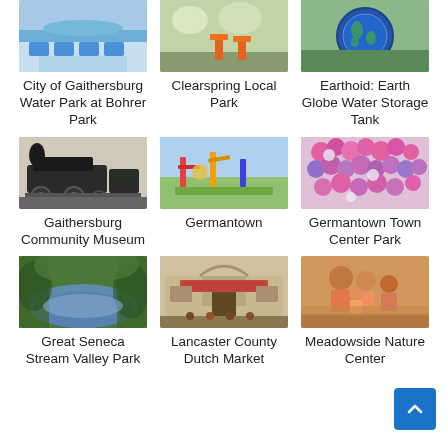[Figure (photo): City of Gaithersburg Water Park at Bohrer Park - outdoor water park with blue chairs]
City of Gaithersburg Water Park at Bohrer Park
[Figure (photo): Clearspring Local Park - park with orange traffic cones]
Clearspring Local Park
[Figure (photo): Earthoid: Earth Globe Water Storage Tank - large globe-shaped water tank]
Earthoid: Earth Globe Water Storage Tank
[Figure (photo): Gaithersburg Community Museum - steam locomotive train]
Gaithersburg Community Museum
[Figure (photo): Germantown - colorful playground equipment]
Germantown
[Figure (photo): Germantown Town Center Park - pink and purple flowers]
Germantown Town Center Park
[Figure (photo): Great Seneca Stream Valley Park - stream through wooded area]
Great Seneca Stream Valley Park
[Figure (photo): Lancaster County Dutch Market - market storefront with arched entrance]
Lancaster County Dutch Market
[Figure (photo): Meadowside Nature Center - family with children]
Meadowside Nature Center